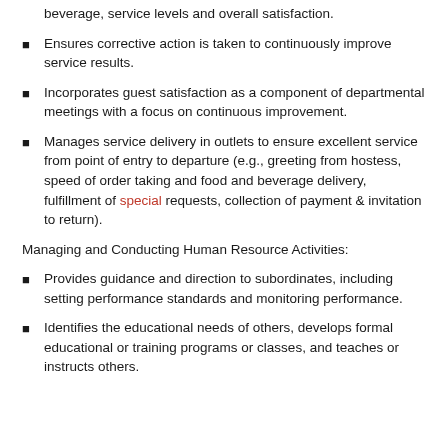beverage, service levels and overall satisfaction.
Ensures corrective action is taken to continuously improve service results.
Incorporates guest satisfaction as a component of departmental meetings with a focus on continuous improvement.
Manages service delivery in outlets to ensure excellent service from point of entry to departure (e.g., greeting from hostess, speed of order taking and food and beverage delivery, fulfillment of special requests, collection of payment & invitation to return).
Managing and Conducting Human Resource Activities:
Provides guidance and direction to subordinates, including setting performance standards and monitoring performance.
Identifies the educational needs of others, develops formal educational or training programs or classes, and teaches or instructs others.